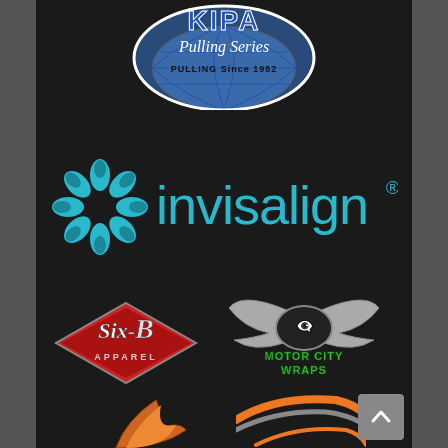[Figure (logo): KIPA Pulling Series logo - blue shield/badge with text 'KIPA Pulling Series' and 'PULLING Since 1982']
[Figure (logo): Invisalign logo - teal snowflake/asterisk icon followed by 'invisalign' text in teal with registered trademark symbol]
[Figure (logo): Six-B Apparel logo - red diamond/shield badge with stylized 'Six-B' script and 'APPAREL' text]
[Figure (logo): Motor City Wraps logo - silver/grey eagle wings with green 'Motor City Wraps' text and fierce animal face]
[Figure (logo): Partial logo bottom left - orange/brown flame or feather shape, partially cut off]
[Figure (logo): Partial logo bottom right - orange and grey curved shape, partially cut off]